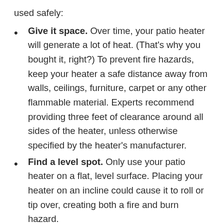used safely:
Give it space. Over time, your patio heater will generate a lot of heat. (That's why you bought it, right?) To prevent fire hazards, keep your heater a safe distance away from walls, ceilings, furniture, carpet or any other flammable material. Experts recommend providing three feet of clearance around all sides of the heater, unless otherwise specified by the heater's manufacturer.
Find a level spot. Only use your patio heater on a flat, level surface. Placing your heater on an incline could cause it to roll or tip over, creating both a fire and burn hazard.
Check for leaks. When setting up a natural gas or propane patio heater, always conduct a thorough